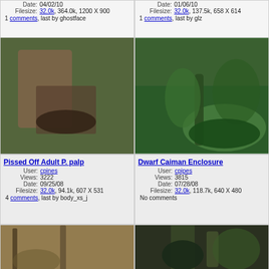| Date: | 04/02/10 |
| Filesize: | 32.0k, 364.0k, 1200 X 900 |
1 comments, last by ghostface
| Date: | 01/06/10 |
| Filesize: | 32.0k, 137.5k, 658 X 614 |
1 comments, last by glz
[Figure (photo): Person holding a small alligator/caiman outdoors on grass]
[Figure (photo): Outdoor enclosure with tropical plants and a pond/pool]
Pissed Off Adult P. palp
| User: | cpines |
| Views: | 3222 |
| Date: | 09/25/08 |
| Filesize: | 32.0k, 94.1k, 607 X 531 |
4 comments, last by body_xs_j
Dwarf Caiman Enclosure
| User: | cpipes |
| Views: | 3815 |
| Date: | 07/28/08 |
| Filesize: | 32.0k, 118.7k, 640 X 480 |
No comments
[Figure (photo): Outdoor enclosure with trees and dirt ground]
[Figure (photo): Dark enclosure with animals and tropical vegetation]